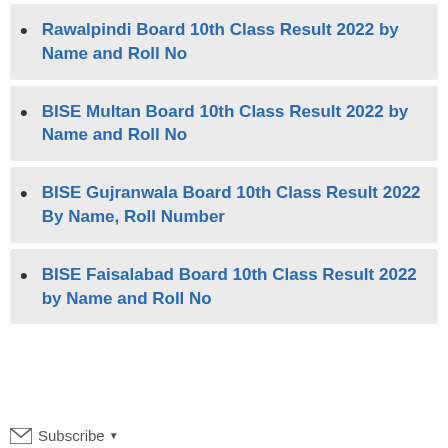Rawalpindi Board 10th Class Result 2022 by Name and Roll No
BISE Multan Board 10th Class Result 2022 by Name and Roll No
BISE Gujranwala Board 10th Class Result 2022 By Name, Roll Number
BISE Faisalabad Board 10th Class Result 2022 by Name and Roll No
Subscribe